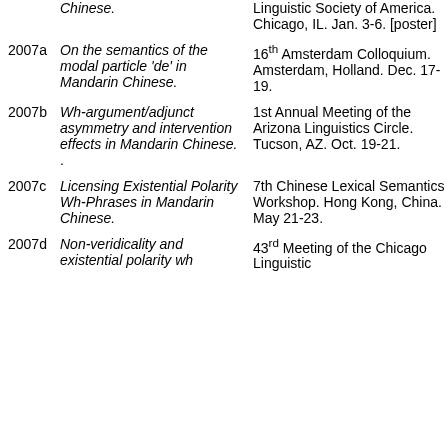[no year] Chinese. | Linguistic Society of America. Chicago, IL. Jan. 3-6. [poster]
2007a On the semantics of the modal particle ‘de’ in Mandarin Chinese. | 16th Amsterdam Colloquium. Amsterdam, Holland. Dec. 17-19.
2007b Wh-argument/adjunct asymmetry and intervention effects in Mandarin Chinese. . | 1st Annual Meeting of the Arizona Linguistics Circle. Tucson, AZ. Oct. 19-21.
2007c Licensing Existential Polarity Wh-Phrases in Mandarin Chinese. | 7th Chinese Lexical Semantics Workshop. Hong Kong, China. May 21-23.
2007d Non-veridicality and existential polarity wh... | 43rd Meeting of the Chicago Linguistic...